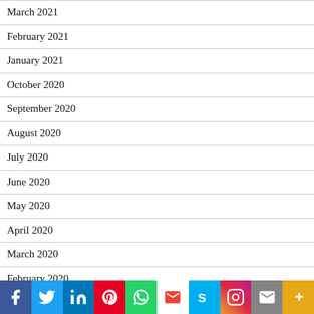March 2021
February 2021
January 2021
October 2020
September 2020
August 2020
July 2020
June 2020
May 2020
April 2020
March 2020
February 2020